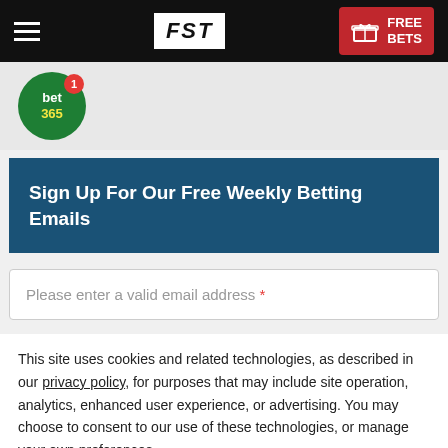FST — FREE BETS
[Figure (logo): bet365 circular green logo with notification badge showing 1]
Sign Up For Our Free Weekly Betting Emails
Please enter a valid email address *
This site uses cookies and related technologies, as described in our privacy policy, for purposes that may include site operation, analytics, enhanced user experience, or advertising. You may choose to consent to our use of these technologies, or manage your own preferences.
Manage Settings | Accept | Decline All